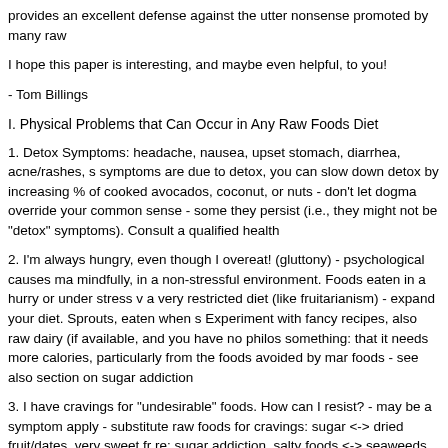provides an excellent defense against the utter nonsense promoted by many raw
I hope this paper is interesting, and maybe even helpful, to you!
- Tom Billings
I. Physical Problems that Can Occur in Any Raw Foods Diet
1. Detox Symptoms: headache, nausea, upset stomach, diarrhea, acne/rashes, s symptoms are due to detox, you can slow down detox by increasing % of cooked avocados, coconut, or nuts - don't let dogma override your common sense - some they persist (i.e., they might not be "detox" symptoms). Consult a qualified health
2. I'm always hungry, even though I overeat! (gluttony) - psychological causes ma mindfully, in a non-stressful environment. Foods eaten in a hurry or under stress v a very restricted diet (like fruitarianism) - expand your diet. Sprouts, eaten when s Experiment with fancy recipes, also raw dairy (if available, and you have no philos something: that it needs more calories, particularly from the foods avoided by mar foods - see also section on sugar addiction
3. I have cravings for "undesirable" foods. How can I resist? - may be a symptom apply - substitute raw foods for cravings: sugar <-> dried fruit/dates, very sweet fr re: sugar addiction. salty foods <-> seaweeds, tomatos, celery juice, or for instinc sesame tahini, raw dairy, or for instinctos: RAF - avoid temptations to the extent p bad you will feel physically, the after-effects) if you do eat the "undesirable" food. reinforce the memory thereof, as it is very easy to forget when faced by temptatio may be telling you that the "undesirable" food contains nutrients that are missing i actually need the "undesirable" food!
4. I'm underweight and emaciated. How can I gain weight? Help! - primarily a con thin/underweight women to be more "beautiful"?! - regular strenuous exercise, su very helpful in gaining/maintaining weight (Viktoras suggested weightlifting in an i